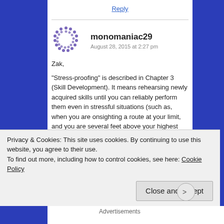Reply
monomaniac29
August 28, 2015 at 2:27 pm
Zak,
“Stress-proofing” is described in Chapter 3 (Skill Development). It means rehearsing newly acquired skills until you can reliably perform them even in stressful situations (such as, when you are onsighting a route at your limit, and you are several feet above your highest
Privacy & Cookies: This site uses cookies. By continuing to use this website, you agree to their use.
To find out more, including how to control cookies, see here: Cookie Policy
Close and accept
Advertisements